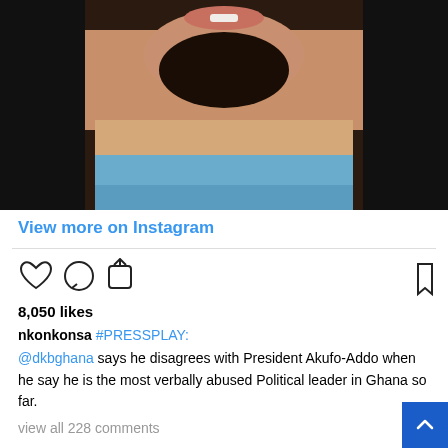[Figure (photo): Instagram post screenshot showing a close-up photo of a bearded man's lower face and torso, wearing a blue and beige/cream shirt, against a dark background.]
View more on Instagram
8,050 likes
nkonkonsa #PRESSPLAY:
@dkbghana says he disagrees with President Akufo-Addo when he say he is the most verbally abused Political leader in Ghana so far.
view all 228 comments